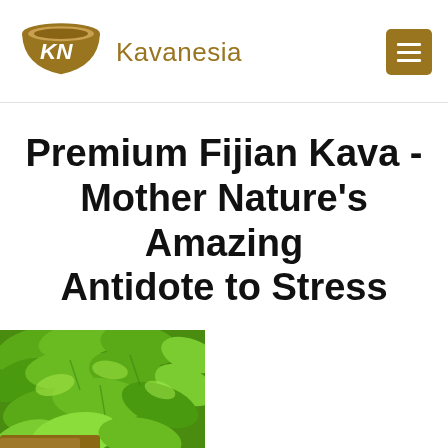Kavanesia
Premium Fijian Kava - Mother Nature's Amazing Antidote to Stress
[Figure (photo): Close-up photo of green kava plant leaves being harvested, with a person's hand visible holding the plant]